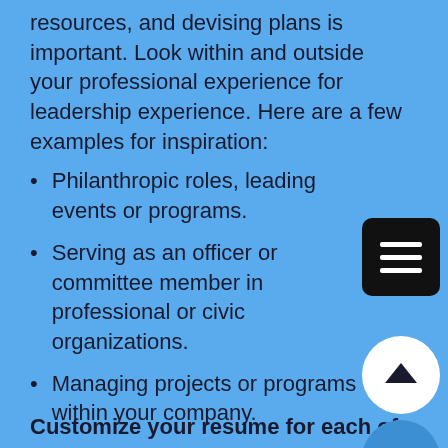resources, and devising plans is important. Look within and outside your professional experience for leadership experience. Here are a few examples for inspiration:
Philanthropic roles, leading events or programs.
Serving as an officer or committee member in professional or civic organizations.
Managing projects or programs within your company.
Customize your resume for each of